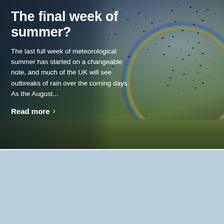[Figure (photo): Outdoor landscape photo showing a dramatic sky with a flock of birds flying in formation, a rainbow visible on the right side, and a flat green field/airfield in the foreground. Dark moody sky with clouds. Text overlaid on left side.]
The final week of summer?
The last full week of meteorological summer has started on a changeable note, and much of the UK will see outbreaks of rain over the coming days. As the August...
Read more ›
[Figure (photo): Light blue / sky blue placeholder or partially loaded image area below the main article card.]